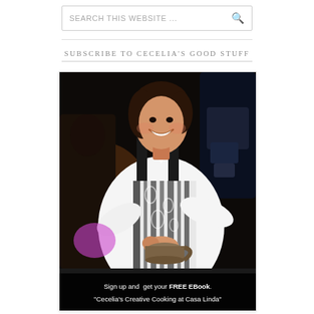SEARCH THIS WEBSITE ...
SUBSCRIBE TO CECELIA'S GOOD STUFF
[Figure (photo): A smiling woman wearing a white shirt and black and white paisley apron, holding a bowl and stirring, in a restaurant or kitchen setting. Another person visible in the dark background.]
Sign up and get your FREE EBook. "Cecelia's Creative Cooking at Casa Linda"